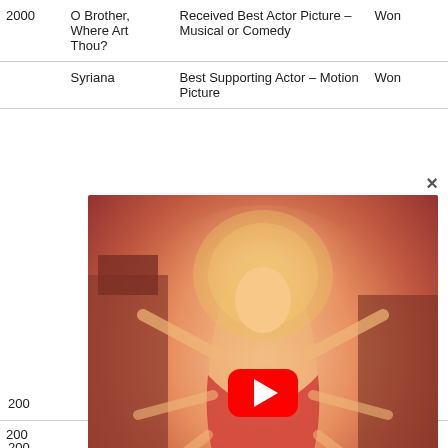| Year | Film | Award | Result |
| --- | --- | --- | --- |
| 2000 | O Brother, Where Art Thou? | Received Best Actor Picture – Musical or Comedy | Won |
|  | Syriana | Best Supporting Actor – Motion Picture | Won |
| 200 |  |  |  |
| 200 |  |  |  |
| 200 |  | Best Director – Motion | Nominated |
[Figure (screenshot): A YouTube video overlay showing a Hindu goddess (Durga) illustration with a red YouTube play button in the center. A close (×) button appears at the top right of the overlay.]